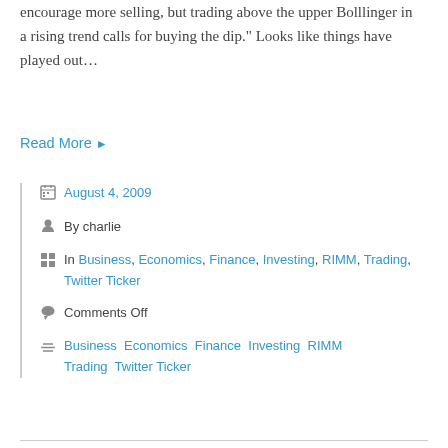encourage more selling, but trading above the upper Bolllinger in a rising trend calls for buying the dip." Looks like things have played out…
Read More ▶
August 4, 2009
By charlie
In Business, Economics, Finance, Investing, RIMM, Trading, Twitter Ticker
Comments Off
Business Economics Finance Investing RIMM Trading Twitter Ticker
New High Short Squeeze ($WFMI)
I posted a tweet about Whole Foods awhile ago, suggesting it was a strong candidate for technical reasons with a solid brand name to boot. @NoDoji agreed, and today that cat tweeted a call to load up on WFMI before earnings. Much of WFMI stock has